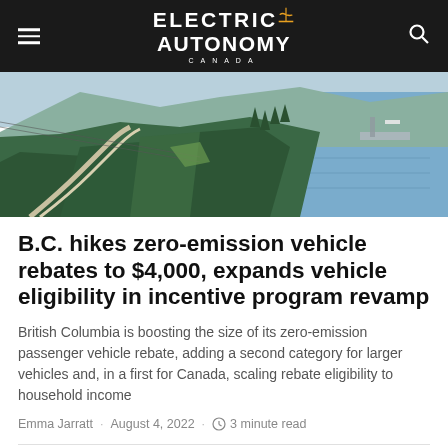ELECTRIC AUTONOMY CANADA
[Figure (photo): Aerial view of a coastal highway winding through forested hills next to a body of water, with a marina visible in the background.]
B.C. hikes zero-emission vehicle rebates to $4,000, expands vehicle eligibility in incentive program revamp
British Columbia is boosting the size of its zero-emission passenger vehicle rebate, adding a second category for larger vehicles and, in a first for Canada, scaling rebate eligibility to household income
Emma Jarratt · August 4, 2022 · 3 minute read